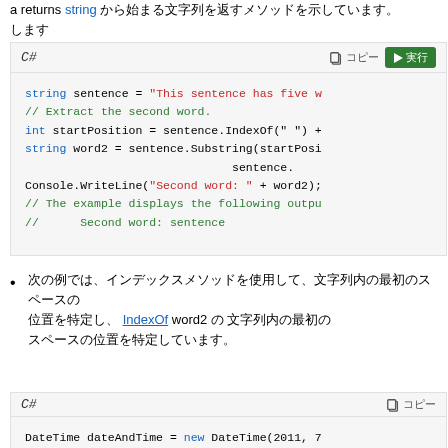a returns string から始まる文字列を返すメソッドを示しています。
[Figure (screenshot): C# code block showing string sentence and substring extraction example with Copy and Run buttons]
次の例では、IndexOf メソッドを使用して、word2 の文字列内の最初のスペースの位置を特定しています。
[Figure (screenshot): C# code block showing DateTime dateAndTime = new DateTime(2011, 7...)]